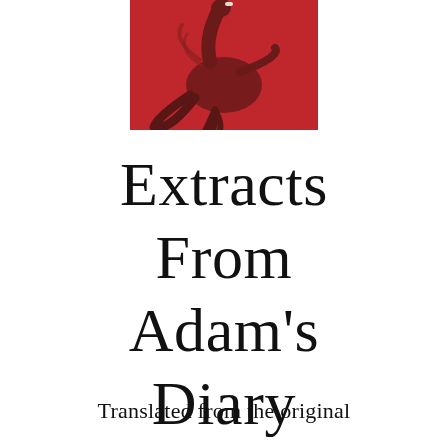[Figure (illustration): Partial book cover illustration showing a creature (possibly a dragon or monster) in dark reddish-brown tones against a red background, visible at the top of the page as a cropped image.]
Extracts From Adam's Diary
Translated from the original